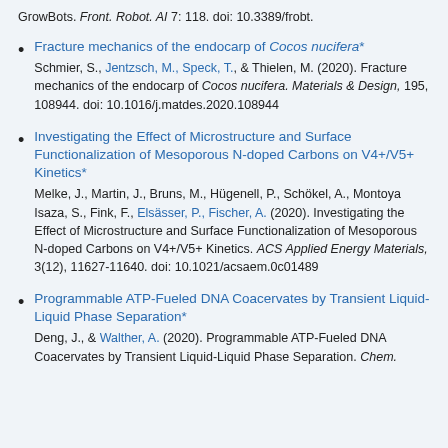GrowBots. Front. Robot. AI 7: 118. doi: 10.3389/frobt.
Fracture mechanics of the endocarp of Cocos nucifera*
Schmier, S., Jentzsch, M., Speck, T., & Thielen, M. (2020). Fracture mechanics of the endocarp of Cocos nucifera. Materials & Design, 195, 108944. doi: 10.1016/j.matdes.2020.108944
Investigating the Effect of Microstructure and Surface Functionalization of Mesoporous N-doped Carbons on V4+/V5+ Kinetics*
Melke, J., Martin, J., Bruns, M., Hügenell, P., Schökel, A., Montoya Isaza, S., Fink, F., Elsässer, P., Fischer, A. (2020). Investigating the Effect of Microstructure and Surface Functionalization of Mesoporous N-doped Carbons on V4+/V5+ Kinetics. ACS Applied Energy Materials, 3(12), 11627-11640. doi: 10.1021/acsaem.0c01489
Programmable ATP-Fueled DNA Coacervates by Transient Liquid-Liquid Phase Separation*
Deng, J., & Walther, A. (2020). Programmable ATP-Fueled DNA Coacervates by Transient Liquid-Liquid Phase Separation. Chem.